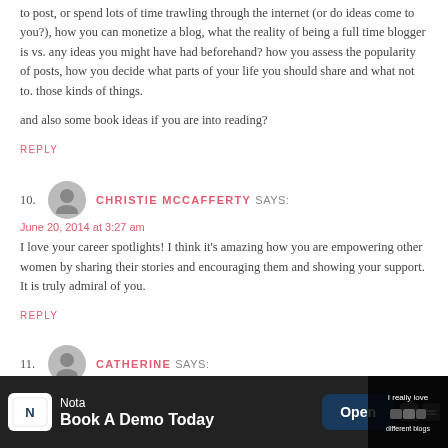to post, or spend lots of time trawling through the internet (or do ideas come to you?), how you can monetize a blog, what the reality of being a full time blogger is vs. any ideas you might have had beforehand? how you assess the popularity of posts, how you decide what parts of your life you should share and what not to. those kinds of things.
and also some book ideas if you are into reading?
REPLY
10. CHRISTIE MCCAFFERTY SAYS:
June 20, 2014 at 3:27 am
I love your career spotlights! I think it's amazing how you are empowering other women by sharing their stories and encouraging them and showing your support. It is truly admiral of you.
REPLY
11. CATHERINE SAYS:
June 20, 2014 at 3:16 am
[Figure (other): Advertisement banner: Nota app ad with 'Book A Demo Today' and Open button]